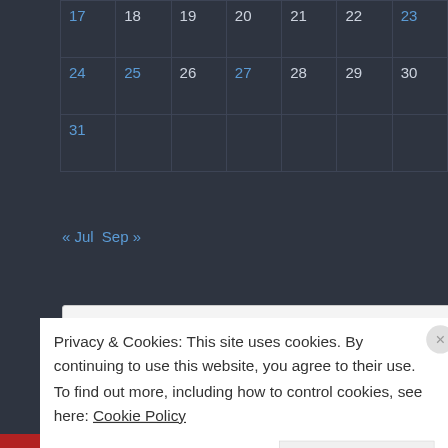| 17 | 18 | 19 | 20 | 21 | 22 | 23 |
| 24 | 25 | 26 | 27 | 28 | 29 | 30 |
| 31 |  |  |  |  |  |  |
« Jul   Sep »
Search …
Social Network
Privacy & Cookies: This site uses cookies. By continuing to use this website, you agree to their use.
To find out more, including how to control cookies, see here: Cookie Policy
Close and accept